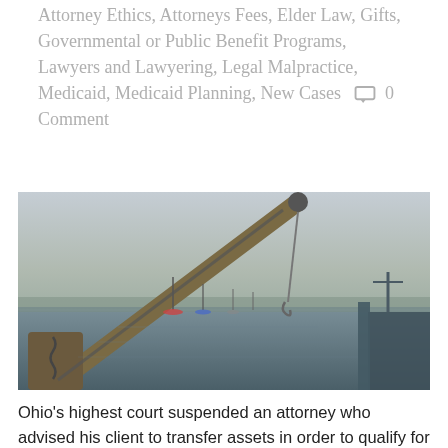Attorney Ethics, Attorneys Fees, Elder Law, Gifts, Governmental or Public Benefit Programs, Lawyers and Lawyering, Legal Malpractice, Medicaid, Medicaid Planning, New Cases  0 Comment
[Figure (photo): Photograph of a harbor scene viewed from a dock or pier, showing a crane or lifting equipment in the foreground, with sailboats and fishing vessels moored in calm water, under an overcast sky.]
Ohio's highest court suspended an attorney who advised his client to transfer assets in order to qualify for Medicaid and then lied to the state Medicaid agency about whether the client transferred assets. Stark County Bar Association v. Buttacavoli (Ohio, No. 2017-Ohio-8857, Dec. 7, 2017). Attorney Glen